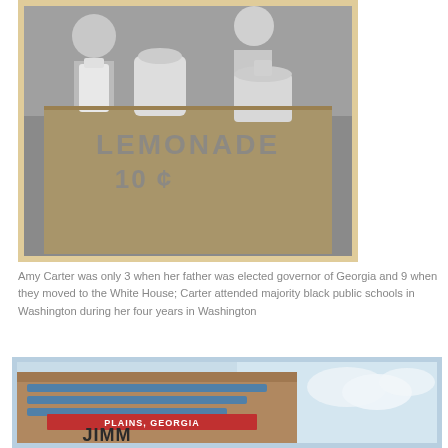[Figure (photo): Black and white photograph of a lemonade stand with a sign reading 'LEMONADE 10¢', with containers on top and people behind the stand.]
Amy Carter was only 3 when her father was elected governor of Georgia and 9 when they moved to the White House; Carter attended majority black public schools in Washington during her four years in Washington
[Figure (photo): Color photograph of a sign reading 'PLAINS, GEORGIA' with 'JIMM' visible below (Jimmy Carter's home sign), with blue sky and clouds in background.]